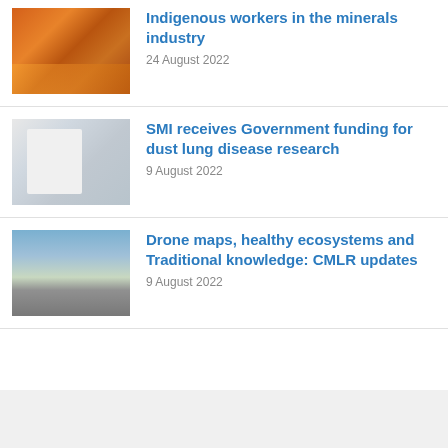[Figure (photo): Worker in orange high-vis gear crouching near mining equipment]
Indigenous workers in the minerals industry
24 August 2022
[Figure (photo): Woman in white lab coat in a laboratory setting with equipment]
SMI receives Government funding for dust lung disease research
9 August 2022
[Figure (photo): Two workers in orange/red high-vis gear outdoors with drone visible on ground]
Drone maps, healthy ecosystems and Traditional knowledge: CMLR updates
9 August 2022